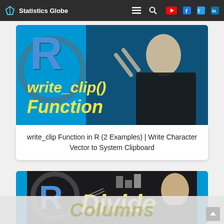Statistics Globe
[Figure (screenshot): Thumbnail for write_clip() Function video showing R logo, hands gesturing, yellow text 'write_clip() Function' on blue background]
write_clip Function in R (2 Examples) | Write Character Vector to System Clipboard
[Figure (screenshot): Thumbnail for Divide Columns video showing R logo, person, yellow text 'Divide' on dark background with blue border]
Columns